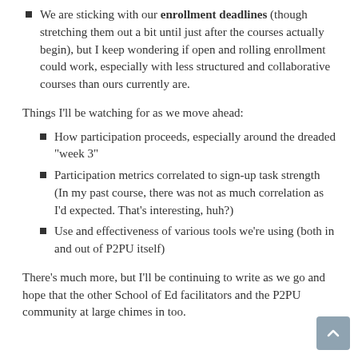We are sticking with our enrollment deadlines (though stretching them out a bit until just after the courses actually begin), but I keep wondering if open and rolling enrollment could work, especially with less structured and collaborative courses than ours currently are.
Things I’ll be watching for as we move ahead:
How participation proceeds, especially around the dreaded “week 3”
Participation metrics correlated to sign-up task strength (In my past course, there was not as much correlation as I’d expected. That’s interesting, huh?)
Use and effectiveness of various tools we’re using (both in and out of P2PU itself)
There’s much more, but I’ll be continuing to write as we go and hope that the other School of Ed facilitators and the P2PU community at large chimes in too.